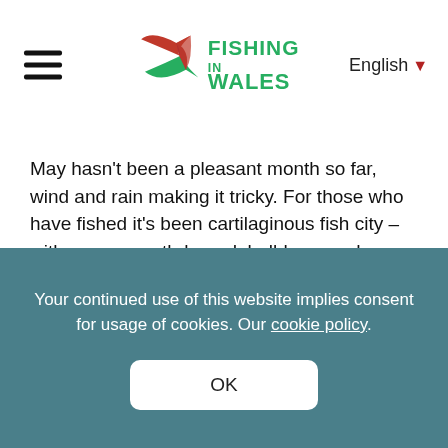Fishing in Wales — English
May hasn't been a pleasant month so far, wind and rain making it tricky. For those who have fished it's been cartilaginous fish city – with rays, smooth-hound, bull-huss and dogfish featuring most frequently in the catches, with bass, flounder, conger and pollock also appearing.
Below: A selection of the species being caught all over Wales currently (pics Hayden Ross).
Your continued use of this website implies consent for usage of cookies. Our cookie policy.